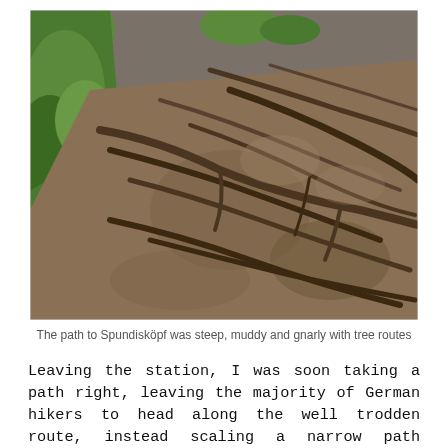[Figure (photo): A steep forest path covered with gnarly exposed tree roots and soil, with green vegetation on the left side and a rocky hillside in the background.]
The path to Spundisköpf was steep, muddy and gnarly with tree routes
Leaving the station, I was soon taking a path right, leaving the majority of German hikers to head along the well trodden route, instead scaling a narrow path through gnarly tree roots and mud. To the left, the edge of the mountain dropped away, and the incline of the path had me gasping for air.